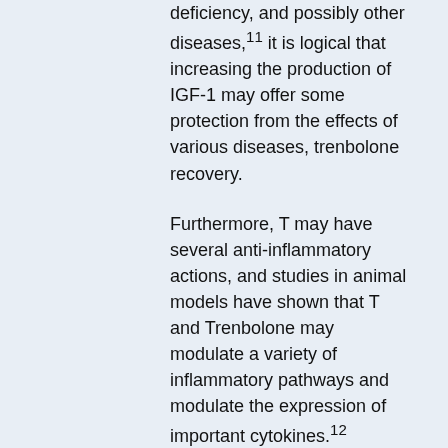deficiency, and possibly other diseases,11 it is logical that increasing the production of IGF-1 may offer some protection from the effects of various diseases, trenbolone recovery.
Furthermore, T may have several anti-inflammatory actions, and studies in animal models have shown that T and Trenbolone may modulate a variety of inflammatory pathways and modulate the expression of important cytokines.12
Interestingly, the administration of T to a mouse with a tumor suppressed by a humanized T allele has been shown to significantly inhibit tumor growth,13,14 and it inhibits tumor progression in a mouse model of bone marrow transplantation in mice.15 In fact, studies in mice with a common human T allele have shown T to delay the progression of the tumor.16